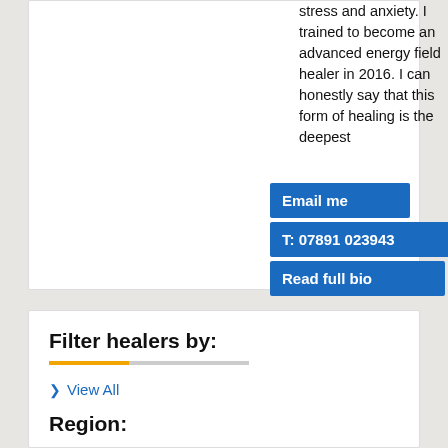stress and anxiety. I trained to become an advanced energy field healer in 2016. I can honestly say that this form of healing is the deepest...
Email me
T: 07891 023943
Read full bio
Filter healers by:
View All
Region: